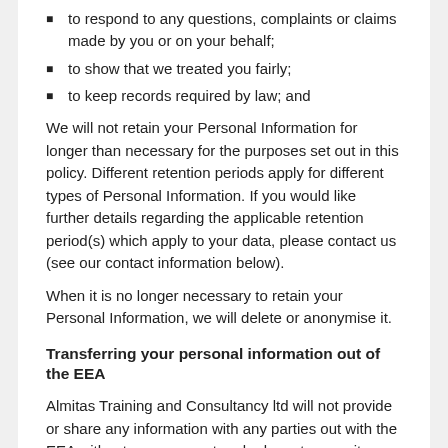to respond to any questions, complaints or claims made by you or on your behalf;
to show that we treated you fairly;
to keep records required by law; and
We will not retain your Personal Information for longer than necessary for the purposes set out in this policy. Different retention periods apply for different types of Personal Information. If you would like further details regarding the applicable retention period(s) which apply to your data, please contact us (see our contact information below).
When it is no longer necessary to retain your Personal Information, we will delete or anonymise it.
Transferring your personal information out of the EEA
Almitas Training and Consultancy ltd will not provide or share any information with any parties out with the EEA without your consent and adequate security measures to ensure your